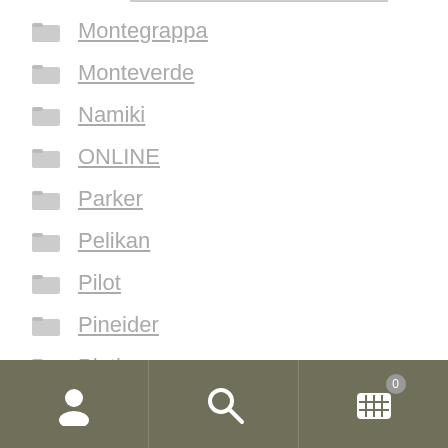Montegrappa
Monteverde
Namiki
ONLINE
Parker
Pelikan
Pilot
Pineider
Platinum
Staedtler
User | Search | Cart 0